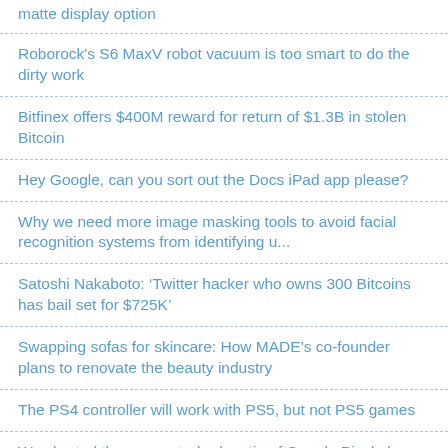matte display option
Roborock's S6 MaxV robot vacuum is too smart to do the dirty work
Bitfinex offers $400M reward for return of $1.3B in stolen Bitcoin
Hey Google, can you sort out the Docs iPad app please?
Why we need more image masking tools to avoid facial recognition systems from identifying u...
Satoshi Nakaboto: ‘Twitter hacker who owns 300 Bitcoins has bail set for $725K’
Swapping sofas for skincare: How MADE’s co-founder plans to renovate the beauty industry
The PS4 controller will work with PS5, but not PS5 games
We charted the screen-to-body ratio of Google Pixel phones
Say hello to SHIFT, our new publication about the future of mobility tech
COVID got the world addicted to (computer) tablets — we made some pie charts about it